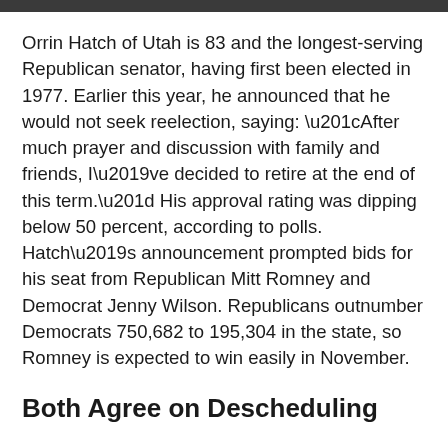Orrin Hatch of Utah is 83 and the longest-serving Republican senator, having first been elected in 1977. Earlier this year, he announced that he would not seek reelection, saying: “After much prayer and discussion with family and friends, I’ve decided to retire at the end of this term.” His approval rating was dipping below 50 percent, according to polls. Hatch’s announcement prompted bids for his seat from Republican Mitt Romney and Democrat Jenny Wilson. Republicans outnumber Democrats 750,682 to 195,304 in the state, so Romney is expected to win easily in November.
Both Agree on Descheduling